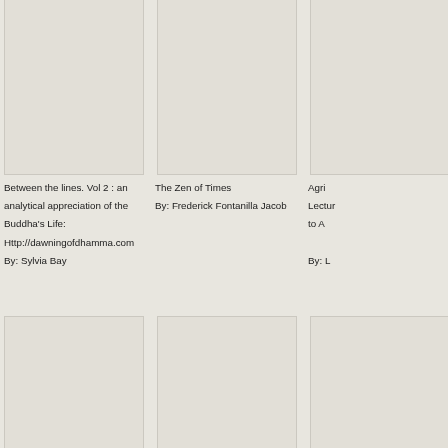[Figure (illustration): Book cover placeholder – top left, partial view cropped at top]
Between the lines. Vol 2 : an analytical appreciation of the Buddha's Life:
Http://dawningofdhamma.com
By: Sylvia Bay
[Figure (illustration): Book cover placeholder – top center]
The Zen of Times
By: Frederick Fontanilla Jacob
[Figure (illustration): Book cover placeholder – top right, partially cropped]
Agri… Lectur… to A…
By: L…
[Figure (illustration): Book cover placeholder – bottom left]
[Figure (illustration): Book cover placeholder – bottom center]
[Figure (illustration): Book cover placeholder – bottom right, partially cropped]